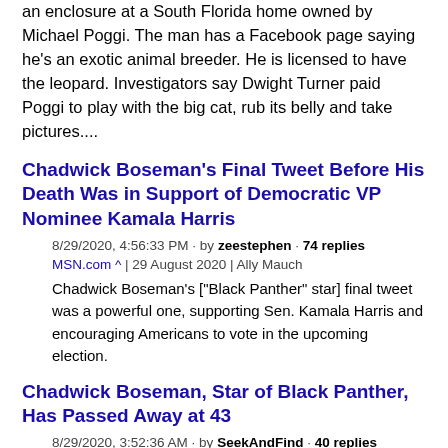an enclosure at a South Florida home owned by Michael Poggi. The man has a Facebook page saying he's an exotic animal breeder. He is licensed to have the leopard. Investigators say Dwight Turner paid Poggi to play with the big cat, rub its belly and take pictures....
Chadwick Boseman's Final Tweet Before His Death Was in Support of Democratic VP Nominee Kamala Harris
8/29/2020, 4:56:33 PM · by zeestephen · 74 replies
MSN.com ^ | 29 August 2020 | Ally Mauch
Chadwick Boseman's ["Black Panther" star] final tweet was a powerful one, supporting Sen. Kamala Harris and encouraging Americans to vote in the upcoming election.
Chadwick Boseman, Star of Black Panther, Has Passed Away at 43
8/29/2020, 3:52:36 AM · by SeekAndFind · 40 replies
Gizmodo ^ | 08/28/2020 | Jill Pantozzi
A associated Press...